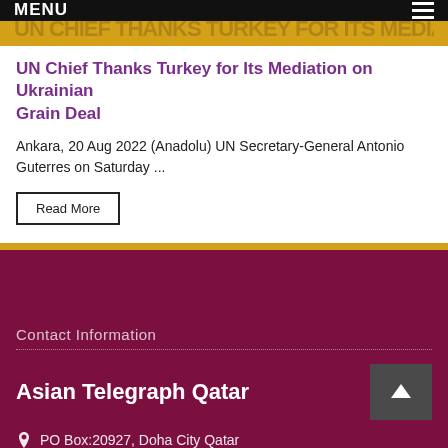MENU
UN Chief Thanks Turkey for Its Mediation on Ukrainian Grain Deal
Ankara, 20 Aug 2022 (Anadolu) UN Secretary-General Antonio Guterres on Saturday ...
Read More
Contact Information
Asian Telegraph Qatar
PO Box:20927, Doha City Qatar